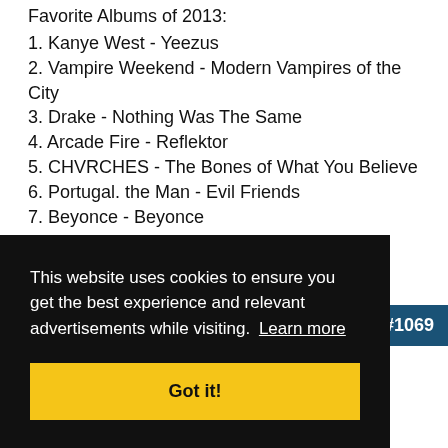Favorite Albums of 2013:
1. Kanye West - Yeezus
2. Vampire Weekend - Modern Vampires of the City
3. Drake - Nothing Was The Same
4. Arcade Fire - Reflektor
5. CHVRCHES - The Bones of What You Believe
6. Portugal. the Man - Evil Friends
7. Beyonce - Beyonce
8. Disclosure - Settle
9. Daft Punk - Random Access Memories
10. Danny Brown - Old
see you guys in the 2014 thread 🙂
This website uses cookies to ensure you get the best experience and relevant advertisements while visiting. Learn more
Got it!
#1069
dimension